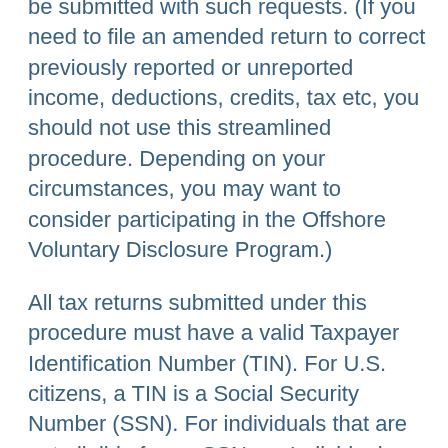be submitted with such requests. (If you need to file an amended return to correct previously reported or unreported income, deductions, credits, tax etc, you should not use this streamlined procedure. Depending on your circumstances, you may want to consider participating in the Offshore Voluntary Disclosure Program.)
All tax returns submitted under this procedure must have a valid Taxpayer Identification Number (TIN). For U.S. citizens, a TIN is a Social Security Number (SSN). For individuals that are not eligible for an SSN, an Individual Taxpayer Identification Number (ITIN) is a valid...